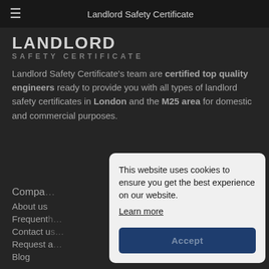Landlord Safety Certificate
[Figure (logo): Landlord Safety Certificate logo — LANDLORD in large bold white uppercase letters, SAFETY CERTIFICATE in smaller spaced grey uppercase letters]
Landlord Safety Certificate's team are certified top quality engineers ready to provide you with all types of landlord safety certificates in London and the M25 area for domestic and commercial purposes.
Compa…
About us
Frequently…
Contact us…
Request a…
Blog
This website uses cookies to ensure you get the best experience on our website. Learn more
Accept